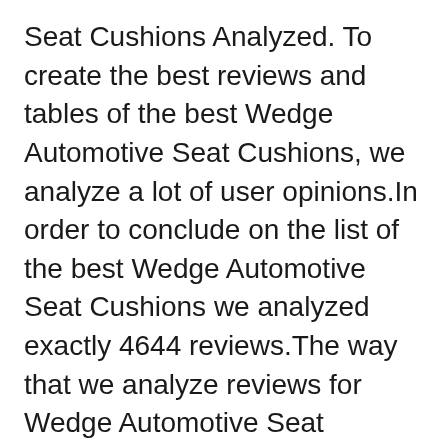Seat Cushions Analyzed. To create the best reviews and tables of the best Wedge Automotive Seat Cushions, we analyze a lot of user opinions.In order to conclude on the list of the best Wedge Automotive Seat Cushions we analyzed exactly 4644 reviews.The way that we analyze reviews for Wedge Automotive Seat Cushions will help you choose the top affordable Wedge.
[Figure (photo): Broken image placeholder with alt text: car seat wedge cushion review]
Top 10 ZIRAKI Seat Cushion 2020. Seat-cushion.org can help you locate the unrivalled seat cushion with characteristics, worth, and deals. With a